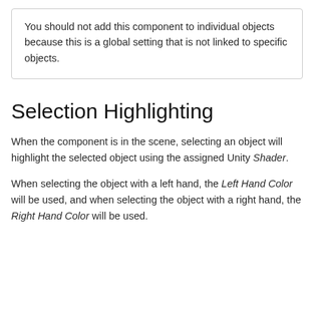You should not add this component to individual objects because this is a global setting that is not linked to specific objects.
Selection Highlighting
When the component is in the scene, selecting an object will highlight the selected object using the assigned Unity Shader.
When selecting the object with a left hand, the Left Hand Color will be used, and when selecting the object with a right hand, the Right Hand Color will be used.